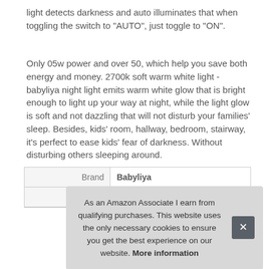light detects darkness and auto illuminates that when toggling the switch to "AUTO", just toggle to "ON".
Only 05w power and over 50, which help you save both energy and money. 2700k soft warm white light - babyliya night light emits warm white glow that is bright enough to light up your way at night, while the light glow is soft and not dazzling that will not disturb your families' sleep. Besides, kids' room, hallway, bedroom, stairway, it's perfect to ease kids' fear of darkness. Without disturbing others sleeping around.
| Brand | Babyliya |
| Ma |  |
As an Amazon Associate I earn from qualifying purchases. This website uses the only necessary cookies to ensure you get the best experience on our website. More information